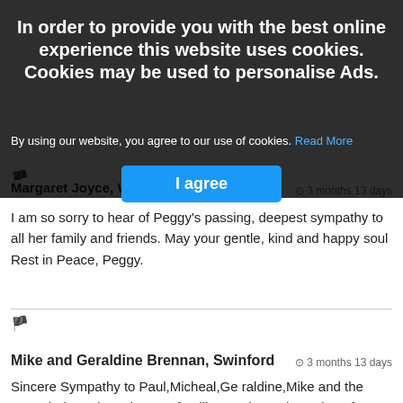In order to provide you with the best online experience this website uses cookies. Cookies may be used to personalise Ads.
By using our website, you agree to our use of cookies. Read More
I agree
Margaret Joyce, W[...]  ⊙ 3 months 13 days
I am so sorry to hear of Peggy's passing, deepest sympathy to all her family and friends. May your gentle, kind and happy soul Rest in Peace, Peggy.
Mike and Geraldine Brennan, Swinford  ⊙ 3 months 13 days
Sincere Sympathy to Paul,Micheal,Ge raldine,Mike and the extended Lundy and Henry families on the sad passing of Peggy. A lovely pleasant lady who will be missed by many.